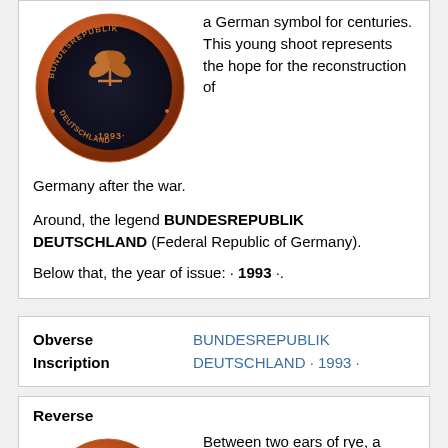[Figure (photo): German 1993 Pfennig coin obverse showing oak leaf sprig and inscription BUNDESREPUBLIK DEUTSCHLAND · 1993 ·]
a German symbol for centuries. This young shoot represents the hope for the reconstruction of Germany after the war.
Around, the legend BUNDESREPUBLIK DEUTSCHLAND (Federal Republic of Germany).
Below that, the year of issue: · 1993 ·.
| Obverse Inscription |  |
| --- | --- |
| Obverse Inscription | BUNDESREPUBLIK DEUTSCHLAND · 1993 · |
Reverse
[Figure (photo): German Pfennig coin reverse showing large numeral 2 between two ears of rye, with mint mark D]
Between two ears of rye, a large numeral for the value: 2; around below that, the